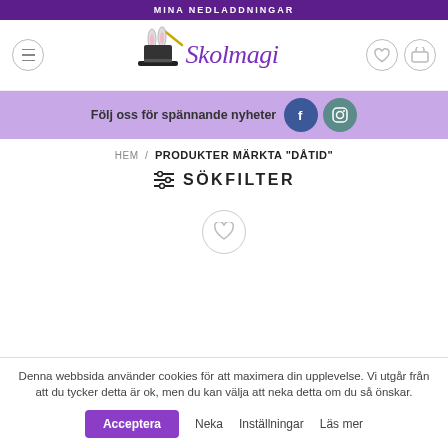MINA NEDLADDNINGAR
[Figure (logo): Skolmagi logo with magician hat and rabbit ears, magic wand, and stylized italic text 'Skolmagi' in purple]
Följ oss för spännande nyheter
HEM / PRODUKTER MÄRKTA "DÅTID"
≡ SÖKFILTER
Denna webbsida använder cookies för att maximera din upplevelse. Vi utgår från att du tycker detta är ok, men du kan välja att neka detta om du så önskar.
Acceptera
Neka
Inställningar
Läs mer